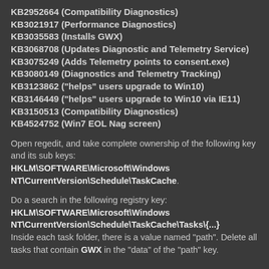KB2952664 (Compatibility Diagnostics)
KB3021917 (Performance Diagnostics)
KB3035583 (Installs GWX)
KB3068708 (Updates Diagnostic and Telemetry Service)
KB3075249 (Adds Telemetry points to consent.exe)
KB3080149 (Diagnostics and Telemetry Tracking)
KB3123862 ("helps" users upgrade to Win10)
KB3146449 ("helps" users upgrade to Win10 via IE11)
KB3150513 (Compatibility Diagnostics)
KB4524752 (Win7 EOL Nag screen)
Open regedit, and take complete ownership of the following key and its sub keys: HKLM\SOFTWARE\Microsoft\Windows NT\CurrentVersion\Schedule\TaskCache.
Do a search in the following registry key: HKLM\SOFTWARE\Microsoft\Windows NT\CurrentVersion\Schedule\TaskCache\Tasks\{...} Inside each task folder, there is a value named "path". Delete all tasks that contain GWX in the "data" of the "path" key.